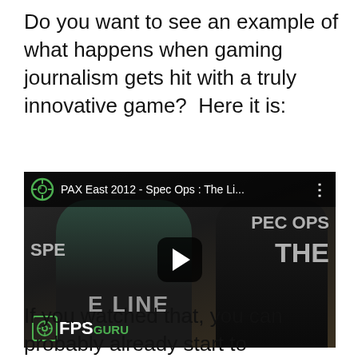Do you want to see an example of what happens when gaming journalism gets hit with a truly innovative game?  Here it is:
[Figure (screenshot): YouTube video thumbnail for 'PAX East 2012 - Spec Ops : The Li...' showing two people being interviewed in front of a Spec Ops: The Line banner, with FPSGuru logo in bottom left and a play button overlay.]
If you watched that, you can probably already start to